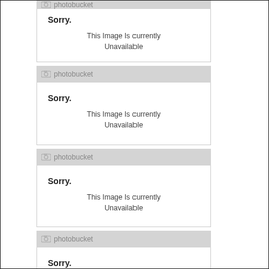[Figure (screenshot): Photobucket unavailable image placeholder 1 - partially visible at top]
[Figure (screenshot): Photobucket unavailable image placeholder 2]
[Figure (screenshot): Photobucket unavailable image placeholder 3]
[Figure (screenshot): Photobucket unavailable image placeholder 4 - partially visible at bottom]